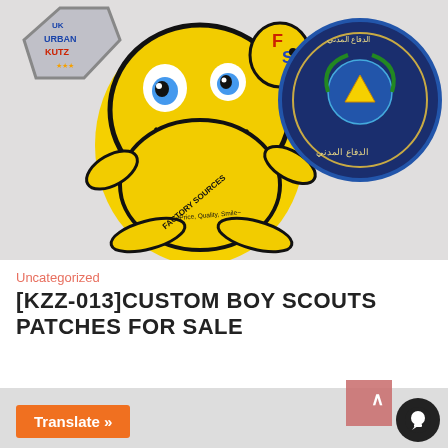[Figure (photo): Photo of custom embroidered patches on a white surface: a yellow cartoon frog mascot with 'Factory Sources - Price, Quality, Smile' text, a silver 'Urban Kutz' shield patch, and a dark blue circular military/civil defense emblem patch with Arabic text and globe logo.]
Uncategorized
[KZZ-013]CUSTOM BOY SCOUTS PATCHES FOR SALE
[Figure (photo): Partial bottom image showing dark black textured patches with star/chevron shape, and a hand holding something on the left side.]
Translate »